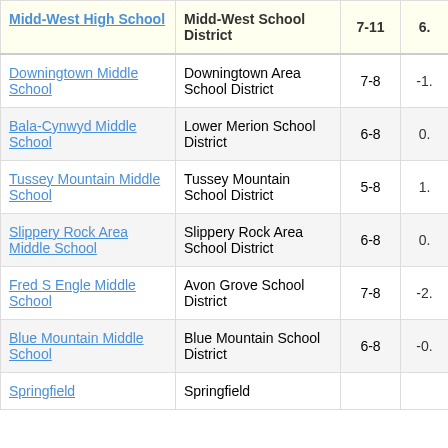| School | District | Grades | Score |
| --- | --- | --- | --- |
| Midd-West High School | Midd-West School District | 7-11 | 6. |
| Downingtown Middle School | Downingtown Area School District | 7-8 | -1. |
| Bala-Cynwyd Middle School | Lower Merion School District | 6-8 | 0. |
| Tussey Mountain Middle School | Tussey Mountain School District | 5-8 | 1. |
| Slippery Rock Area Middle School | Slippery Rock Area School District | 6-8 | 0. |
| Fred S Engle Middle School | Avon Grove School District | 7-8 | -2. |
| Blue Mountain Middle School | Blue Mountain School District | 6-8 | -0. |
| Springfield | Springfield |  |  |